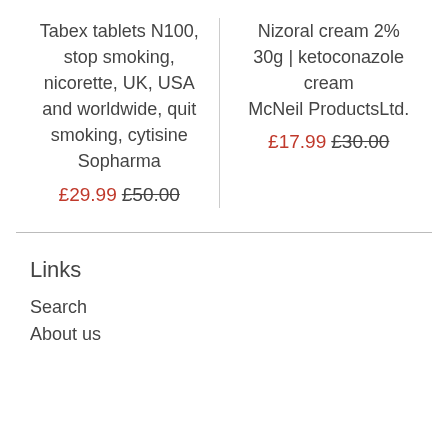Tabex tablets N100, stop smoking, nicorette, UK, USA and worldwide, quit smoking, cytisine Sopharma £29.99 £50.00
Nizoral cream 2% 30g | ketoconazole cream McNeil ProductsLtd. £17.99 £30.00
Links
Search
About us